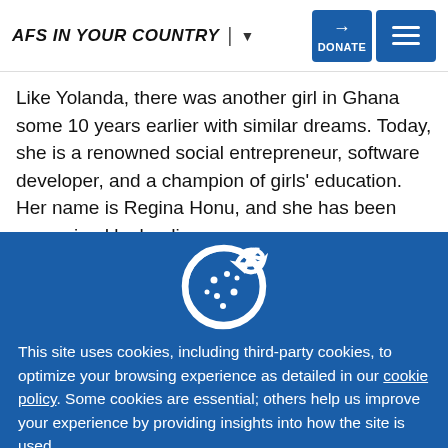AFS IN YOUR COUNTRY | ▾
Like Yolanda, there was another girl in Ghana some 10 years earlier with similar dreams. Today, she is a renowned social entrepreneur, software developer, and a champion of girls' education. Her name is Regina Honu, and she has been recognized by leading
[Figure (illustration): Cookie icon — a white cookie with a bite taken out, on a blue background]
This site uses cookies, including third-party cookies, to optimize your browsing experience as detailed in our cookie policy. Some cookies are essential; others help us improve your experience by providing insights into how the site is used.
Accept
More Settings